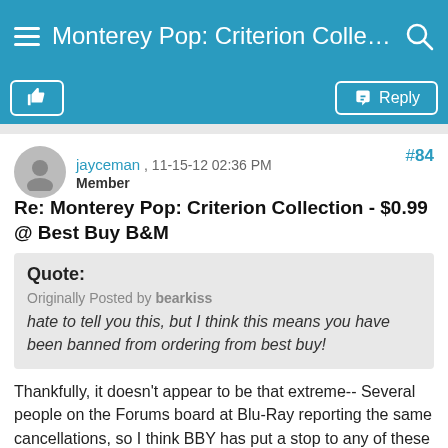Monterey Pop: Criterion Collecti...
#84
jayceman , 11-15-12 02:36 PM
Member
Re: Monterey Pop: Criterion Collection - $0.99 @ Best Buy B&M
Quote:
Originally Posted by bearkiss
hate to tell you this, but I think this means you have been banned from ordering from best buy!
Thankfully, it doesn't appear to be that extreme-- Several people on the Forums board at Blu-Ray reporting the same cancellations, so I think BBY has put a stop to any of these 0.99 deals.